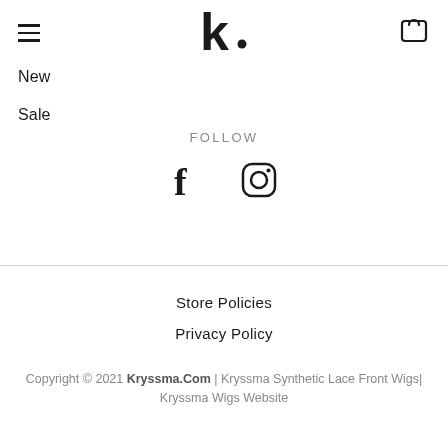[Figure (logo): Kryssma logo — stylized lowercase k with a dot, bold black]
New
Sale
FOLLOW
[Figure (illustration): Facebook and Instagram social media icons side by side]
Store Policies
Privacy Policy
Copyright © 2021 Kryssma.Com | Kryssma Synthetic Lace Front Wigs| Kryssma Wigs Website